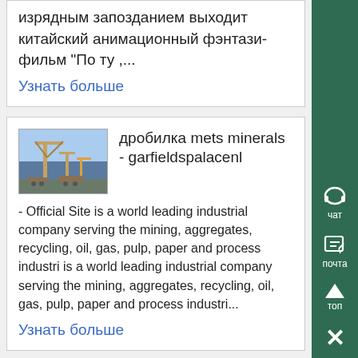изрядным запозданием выходит китайский анимационный фэнтази-фильм "По ту ,...
Узнать больше
[Figure (photo): Thumbnail photo of industrial equipment/crane]
дробилка mets minerals - garfieldspalacenl
- Official Site is a world leading industrial company serving the mining, aggregates, recycling, oil, gas, pulp, paper and process industri is a world leading industrial company serving the mining, aggregates, recycling, oil, gas, pulp, paper and process industri...
Узнать больше